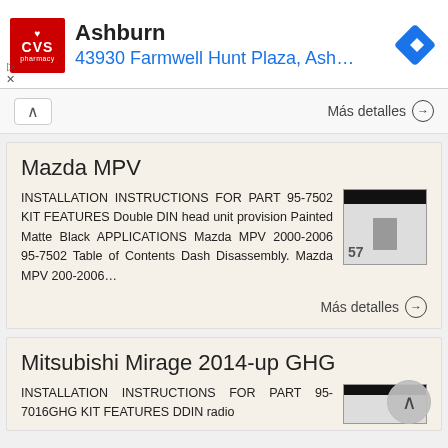[Figure (logo): CVS Pharmacy advertisement banner showing CVS logo, 'Ashburn' heading, and address '43930 Farmwell Hunt Plaza, Ash...' with navigation diamond icon]
Más detalles →
Mazda MPV
INSTALLATION INSTRUCTIONS FOR PART 95-7502 KIT FEATURES Double DIN head unit provision Painted Matte Black APPLICATIONS Mazda MPV 2000-2006 95-7502 Table of Contents Dash Disassembly. Mazda MPV 200-2006...
Más detalles →
Mitsubishi Mirage 2014-up GHG
INSTALLATION INSTRUCTIONS FOR PART 95-7016GHG KIT FEATURES DDIN radio